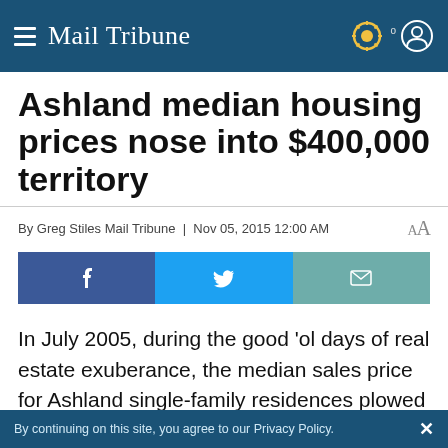Mail Tribune
Ashland median housing prices nose into $400,000 territory
By Greg Stiles Mail Tribune | Nov 05, 2015 12:00 AM
[Figure (infographic): Social share buttons: Facebook, Twitter, Email]
In July 2005, during the good 'ol days of real estate exuberance, the median sales price for Ashland single-family residences plowed through the $400,000 barrier without a hint of
By continuing on this site, you agree to our Privacy Policy.